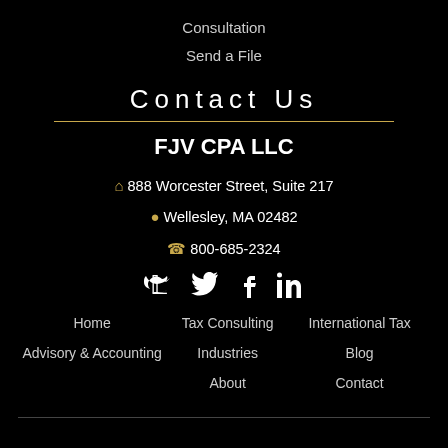Consultation
Send a File
Contact Us
FJV CPA LLC
888 Worcester Street, Suite 217
Wellesley, MA 02482
800-685-2324
[Figure (illustration): Social media icons: Twitter, Facebook, LinkedIn]
Home
Tax Consulting
International Tax
Advisory & Accounting
Industries
Blog
About
Contact